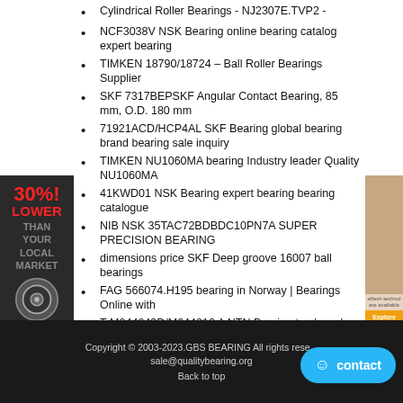Cylindrical Roller Bearings - NJ2307E.TVP2 -
NCF3038V NSK Bearing online bearing catalog expert bearing
TIMKEN 18790/18724 – Ball Roller Bearings Supplier
SKF 7317BEPSKF Angular Contact Bearing, 85 mm, O.D. 180 mm
71921ACD/HCP4AL SKF Bearing global bearing brand bearing sale inquiry
TIMKEN NU1060MA bearing Industry leader Quality NU1060MA
41KWD01 NSK Bearing expert bearing bearing catalogue
NIB NSK 35TAC72BDBDC10PN7A SUPER PRECISION BEARING
dimensions price SKF Deep groove 16007 ball bearings
FAG 566074.H195 bearing in Norway | Bearings Online with
T-M244249D/M244210 A NTN Bearing top brand bearing bearing marketplace
SF2263 NTN Bearing bearing price size bearing price 20 percent discount
price specifications NSK TAPERED ROLLER HR32320J BEARINGS
9107KG TIMKEN Bearing bearing corporation reliable bearing
[Figure (advertisement): Left sidebar ad with red text '30%! LOWER THAN YOUR LOCAL MARKET' and bearing image]
[Figure (advertisement): Right top corner ad showing person image with orange button]
Copyright © 2003-2023.GBS BEARING All rights reserved sale@qualitybearing.org Back to top
contact